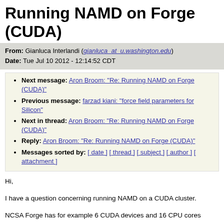Running NAMD on Forge (CUDA)
From: Gianluca Interlandi (gianluca_at_u.washington.edu)
Date: Tue Jul 10 2012 - 12:14:52 CDT
Next message: Aron Broom: "Re: Running NAMD on Forge (CUDA)"
Previous message: farzad kiani: "force field parameters for Silicon"
Next in thread: Aron Broom: "Re: Running NAMD on Forge (CUDA)"
Reply: Aron Broom: "Re: Running NAMD on Forge (CUDA)"
Messages sorted by: [ date ] [ thread ] [ subject ] [ author ] [ attachment ]
Hi,
I have a question concerning running NAMD on a CUDA cluster.
NCSA Forge has for example 6 CUDA devices and 16 CPU cores